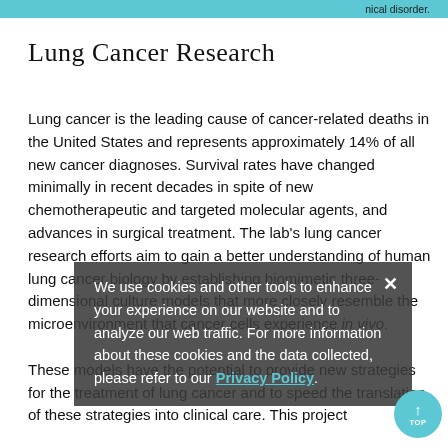nical disorder.
Lung Cancer Research
Lung cancer is the leading cause of cancer-related deaths in the United States and represents approximately 14% of all new cancer diagnoses. Survival rates have changed minimally in recent decades in spite of new chemotherapeutic and targeted molecular agents, and advances in surgical treatment. The lab’s lung cancer research efforts aim to gain a better understanding of human lung cancer biology by establishing biomimetic three-dimensional culture models that more closely resemble the microenvironment that cancer cells experience in vivo. These models have the potential to provide new strategies for the treatment of lung cancer and to speed the translation of these strategies into clinical care. This project
We use cookies and other tools to enhance your experience on our website and to analyze our web traffic. For more information about these cookies and the data collected, please refer to our Privacy Policy.